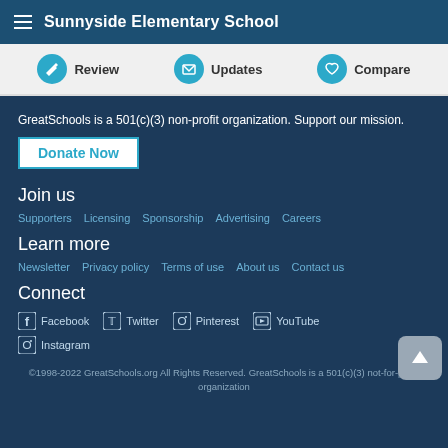Sunnyside Elementary School
Review | Updates | Compare
GreatSchools is a 501(c)(3) non-profit organization. Support our mission.
Donate Now
Join us
Supporters
Licensing
Sponsorship
Advertising
Careers
Learn more
Newsletter
Privacy policy
Terms of use
About us
Contact us
Connect
Facebook
Twitter
Pinterest
YouTube
Instagram
©1998-2022 GreatSchools.org All Rights Reserved. GreatSchools is a 501(c)(3) not-for-profit organization